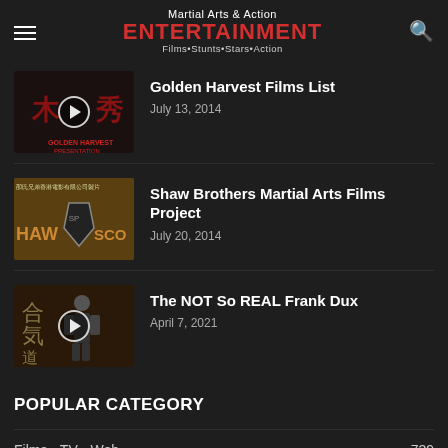Martial Arts & Action ENTERTAINMENT Films•Stunts•Stars•Action
Golden Harvest Films List
July 13, 2014
Shaw Brothers Martial Arts Films Project
July 20, 2014
The NOT So REAL Frank Dux
April 7, 2021
POPULAR CATEGORY
Films • TV • Web   739
Who's Who   662